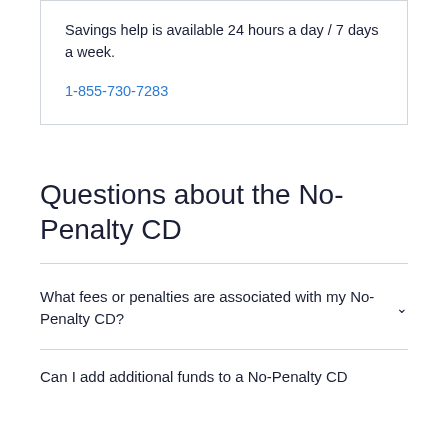Savings help is available 24 hours a day / 7 days a week.
1-855-730-7283
Questions about the No-Penalty CD
What fees or penalties are associated with my No-Penalty CD?
Can I add additional funds to a No-Penalty CD